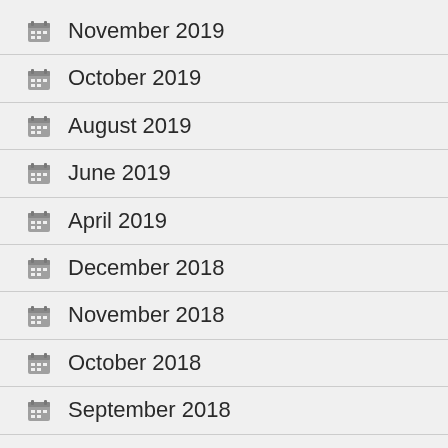November 2019
October 2019
August 2019
June 2019
April 2019
December 2018
November 2018
October 2018
September 2018
August 2018